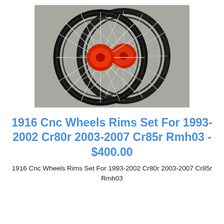[Figure (photo): Two black motorcycle wheel rims with red hubs and silver spokes, overlapping each other on a grey surface.]
1916 Cnc Wheels Rims Set For 1993-2002 Cr80r 2003-2007 Cr85r Rmh03 - $400.00
1916 Cnc Wheels Rims Set For 1993-2002 Cr80r 2003-2007 Cr85r Rmh03